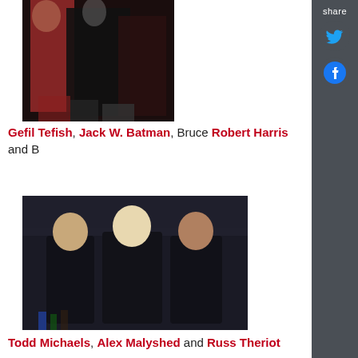[Figure (photo): Photo of people in formal/costume attire, dark background with red and black clothing]
Gefil Tefish, Jack W. Batman, Bruce Robert Harris and B
[Figure (photo): Photo of three young men in black shirts standing together at what appears to be a bar or event]
Todd Michaels, Alex Malyshed and Russ Theriot